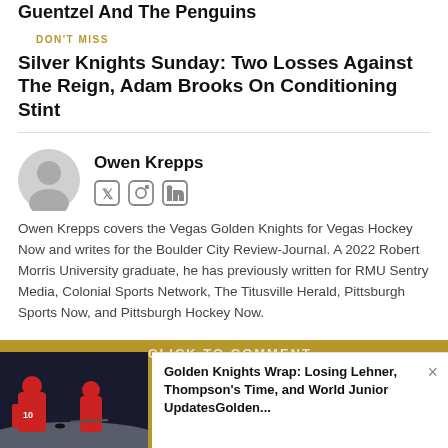Guentzel And The Penguins
DON'T MISS
Silver Knights Sunday: Two Losses Against The Reign, Adam Brooks On Conditioning Stint
Owen Krepps
Owen Krepps covers the Vegas Golden Knights for Vegas Hockey Now and writes for the Boulder City Review-Journal. A 2022 Robert Morris University graduate, he has previously written for RMU Sentry Media, Colonial Sports Network, The Titusville Herald, Pittsburgh Sports Now, and Pittsburgh Hockey Now.
[Figure (photo): Hockey players on ice, red jerseys]
Golden Knights Wrap: Losing Lehner, Thompson's Time, and World Junior UpdatesGolden...